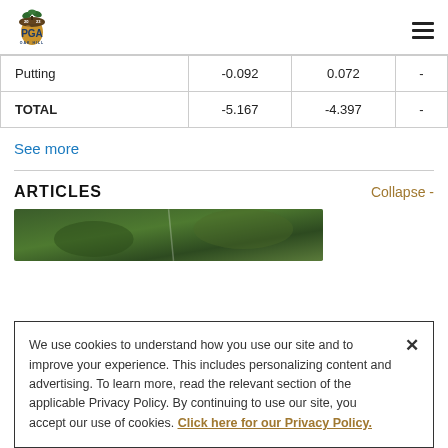2023 PGA OAK HILL
|  |  |  |  |
| --- | --- | --- | --- |
| Putting | -0.092 | 0.072 | - |
| TOTAL | -5.167 | -4.397 | - |
See more
ARTICLES
Collapse -
[Figure (photo): Golf article thumbnail image showing green foliage/trees]
We use cookies to understand how you use our site and to improve your experience. This includes personalizing content and advertising. To learn more, read the relevant section of the applicable Privacy Policy. By continuing to use our site, you accept our use of cookies. Click here for our Privacy Policy.